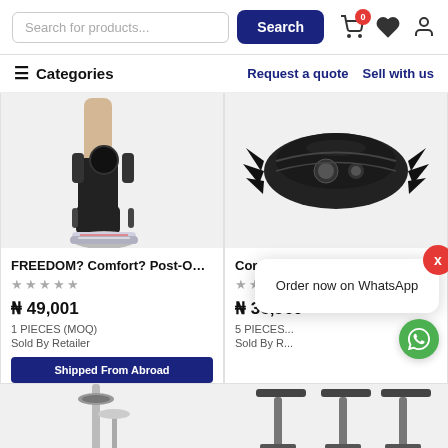Search for products... | Search | Cart (0) | Wishlist | Account
Categories | Request a quote | Sell with us
[Figure (photo): Product image: leg with ankle/knee brace and sneaker]
[Figure (photo): Product image: black expandable wedge tool]
FREEDOM? Comfort? Post-OP K...
★★★★★
₦ 49,001
1 PIECES (MOQ)
Sold By Retailer
Shipped From Abroad
Core? Expandable Wedge
★★★★★
₦ 36,960
5 PIECES (MOQ)
Sold By R...
Order now on WhatsApp
[Figure (photo): Partial product image at bottom left (crutch/medical device)]
[Figure (photo): Partial product image at bottom right (stools/stands)]